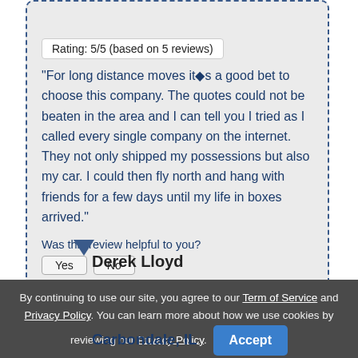[Figure (other): Five red stars rating icons]
Rating: 5/5 (based on 5 reviews)
"For long distance moves it�s a good bet to choose this company. The quotes could not be beaten in the area and I can tell you I tried as I called every single company on the internet. They not only shipped my possessions but also my car. I could then fly north and hang with friends for a few days until my life in boxes arrived."
Was this review helpful to you?
Derek Lloyd
By continuing to use our site, you agree to our Term of Service and Privacy Policy. You can learn more about how we use cookies by reviewing our Privacy Policy.
Accept
moving
Carbondale, IL